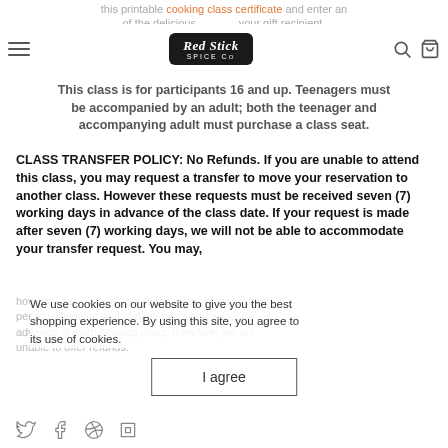this printable cooking class certificate and enter an of the delicious your gift recipient.
[Figure (logo): Red Stick Spice Co logo — white text on dark rounded rectangle badge]
This class is for participants 16 and up. Teenagers must be accompanied by an adult; both the teenager and accompanying adult must purchase a class seat.
CLASS TRANSFER POLICY: No Refunds. If you are unable to attend this class, you may request a transfer to move your reservation to another class. However these requests must be received seven (7) working days in advance of the class date. If your request is made after seven (7) working days, we will not be able to accommodate your transfer request. You may,
however, pass along your place in this class to another person. Planning and staffing takes place well in advance of each cooking class; therefore, we are unable to offer refunds.
We use cookies on our website to give you the best shopping experience. By using this site, you agree to its use of cookies.
I agree